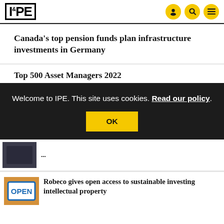IPE
Canada's top pension funds plan infrastructure investments in Germany
Top 500 Asset Managers 2022
Welcome to IPE. This site uses cookies. Read our policy.
OK
Robeco gives open access to sustainable investing intellectual property